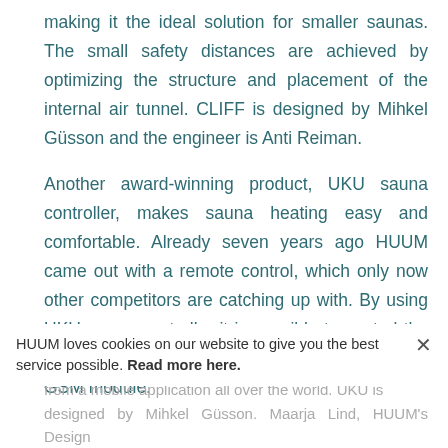making it the ideal solution for smaller saunas. The small safety distances are achieved by optimizing the structure and placement of the internal air tunnel. CLIFF is designed by Mihkel Güsson and the engineer is Anti Reiman.
Another award-winning product, UKU sauna controller, makes sauna heating easy and comfortable. Already seven years ago HUUM came out with a remote control, which only now other competitors are catching up with. By using UKU sauna controller it is possible to control the sauna locally, via Wi-Fi network or with a built-in GSM module.
Through the latter two it is possible to control the sauna from a mobile application all over the world. UKU is designed by Mihkel Güsson. Maarja Lind, HUUM's Design
HUUM loves cookies on our website to give you the best service possible. Read more here.